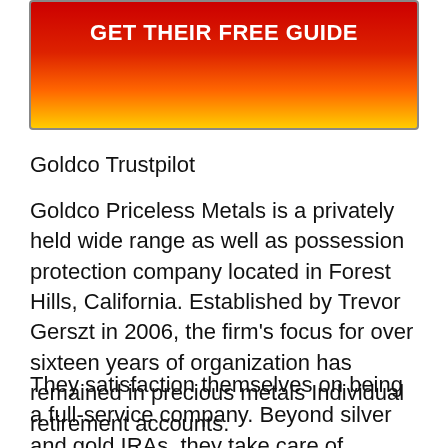[Figure (other): Red to yellow gradient banner button with white bold text reading GET THEIR FREE GUIDE]
Goldco Trustpilot
Goldco Priceless Metals is a privately held wide range as well as possession protection company located in Forest Hills, California. Established by Trevor Gerszt in 2006, the firm's focus for over sixteen years of organization has remained in precious metals Individual retirement accounts.
They satisfaction themselves on being a full-service company. Beyond silver and gold IRAs, they take care of straight purchases of